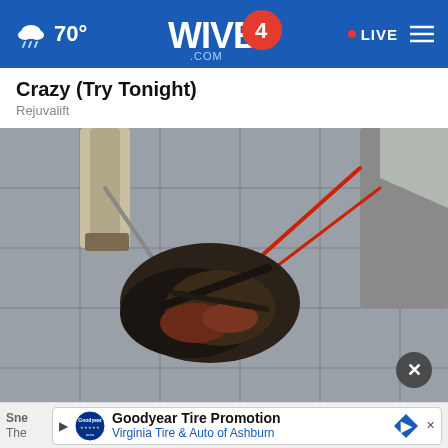70° WIVB4.COM • LIVE
Crazy (Try Tonight)
Rejuvalift
[Figure (photo): Two people pulling on a chain attached to burned/destroyed debris on a tiled surface, viewed from above]
× close button overlay on photo
Sne The  Goodyear Tire Promotion  Virginia Tire & Auto of Ashburn